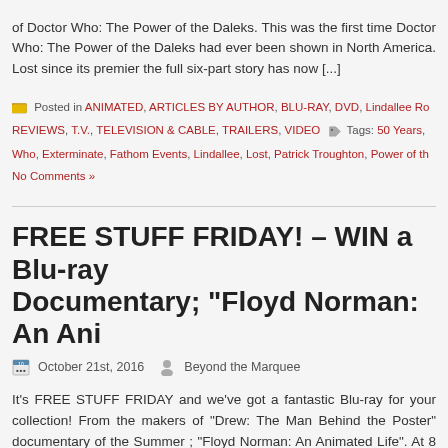of Doctor Who: The Power of the Daleks. This was the first time Doctor Who: The Power of the Daleks had ever been shown in North America. Lost since its premiere in 1966, the full six-part story has now [...]
Posted in ANIMATED, ARTICLES BY AUTHOR, BLU-RAY, DVD, Lindallee Ro... REVIEWS, T.V., TELEVISION & CABLE, TRAILERS, VIDEO | Tags: 50 Years... Who, Exterminate, Fathom Events, Lindallee, Lost, Patrick Troughton, Power of th...
No Comments »
FREE STUFF FRIDAY! – WIN a Blu-ray Documentary; "Floyd Norman: An Ani...
October 21st, 2016   Beyond the Marquee
It's FREE STUFF FRIDAY and we've got a fantastic Blu-ray for your collection! From the makers of "Drew: The Man Behind the Poster" documentary of the Summer ; "Floyd Norman: An Animated Life". At 8... Legend; Floyd Norman, the first African-American animator [...]
Posted in ANIMATED, ARTICLES BY AUTHOR, Beyond The Marquee, BLU-... INDEPENDENT FILMS, MOVIES, TRAILERS, VIDEO | Tags: An Animated Lif... Marquee, Blu-ray, contest, Disney, Documentary, Drew Struzan, Erik Sharkey, Fl...